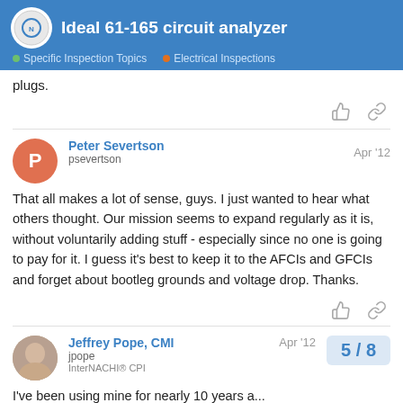Ideal 61-165 circuit analyzer | Specific Inspection Topics | Electrical Inspections
plugs.
Peter Severtson
psevertson
Apr '12

That all makes a lot of sense, guys. I just wanted to hear what others thought. Our mission seems to expand regularly as it is, without voluntarily adding stuff - especially since no one is going to pay for it. I guess it's best to keep it to the AFCIs and GFCIs and forget about bootleg grounds and voltage drop. Thanks.
Jeffrey Pope, CMI
jpope
InterNACHI® CPI
Apr '12

I've been using mine for nearly 10 years a...
5 / 8